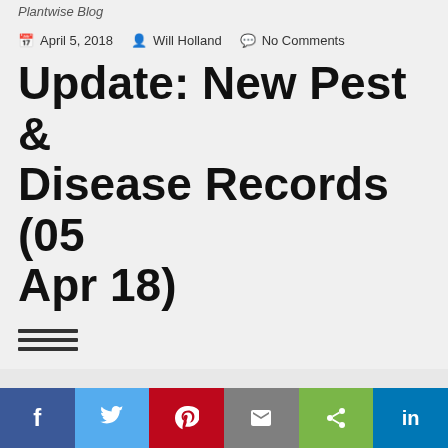Planwise Blog
April 5, 2018  Will Holland  No Comments
Update: New Pest & Disease Records (05 Apr 18)
≡ (hamburger menu icon)
Like most websites we use cookies. This is to ensure that we give you the best experience possible. Continuing to use Plantwise Blog means you agree to our use of cookies. If you would like to, you can learn more about the cookies we use here.
Close (button)
Social sharing bar: Facebook, Twitter, Pinterest, Email, Share, LinkedIn